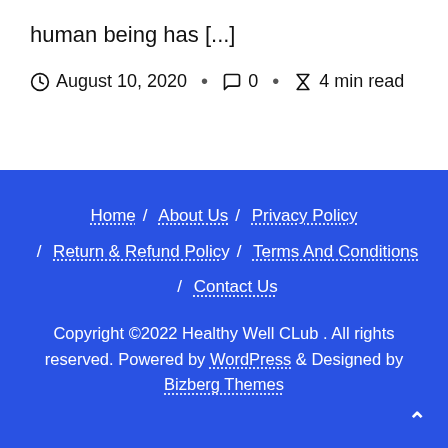human being has [...]
August 10, 2020 · 0 · 4 min read
Home / About Us / Privacy Policy / Return & Refund Policy / Terms And Conditions / Contact Us
Copyright ©2022 Healthy Well CLub . All rights reserved. Powered by WordPress & Designed by Bizberg Themes